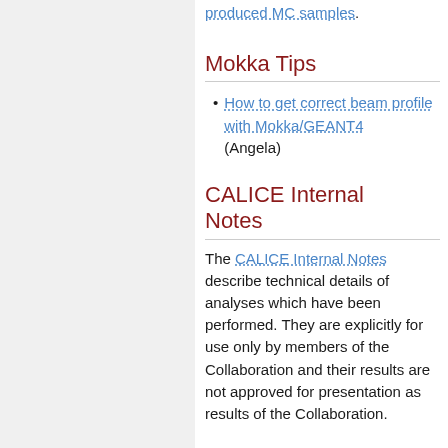produced MC samples.
Mokka Tips
How to get correct beam profile with Mokka/GEANT4 (Angela)
CALICE Internal Notes
The CALICE Internal Notes describe technical details of analyses which have been performed. They are explicitly for use only by members of the Collaboration and their results are not approved for presentation as results of the Collaboration.